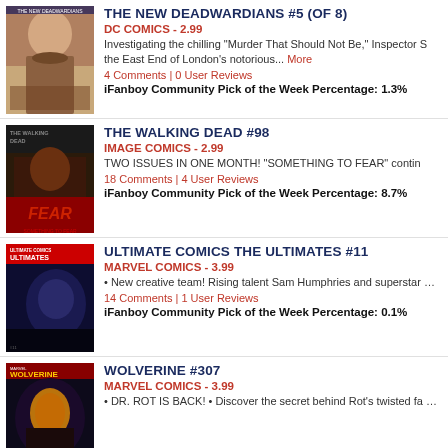[Figure (illustration): Comic book cover for The New Deadwardians #5 (of 8)]
THE NEW DEADWARDIANS #5 (OF 8)
DC COMICS - 2.99
Investigating the chilling "Murder That Should Not Be," Inspector S the East End of London's notorious... More
4 Comments | 0 User Reviews
iFanboy Community Pick of the Week Percentage: 1.3%
[Figure (illustration): Comic book cover for The Walking Dead #98]
THE WALKING DEAD #98
IMAGE COMICS - 2.99
TWO ISSUES IN ONE MONTH! "SOMETHING TO FEAR" contin
18 Comments | 4 User Reviews
iFanboy Community Pick of the Week Percentage: 8.7%
[Figure (illustration): Comic book cover for Ultimate Comics The Ultimates #11]
ULTIMATE COMICS THE ULTIMATES #11
MARVEL COMICS - 3.99
• New creative team! Rising talent Sam Humphries and superstar writer Jonathan Hickman! • It's the... More
14 Comments | 1 User Reviews
iFanboy Community Pick of the Week Percentage: 0.1%
[Figure (illustration): Comic book cover for Wolverine #307]
WOLVERINE #307
MARVEL COMICS - 3.99
• DR. ROT IS BACK! • Discover the secret behind Rot's twisted fa Wolverine's connection is. • FBI Agent... More